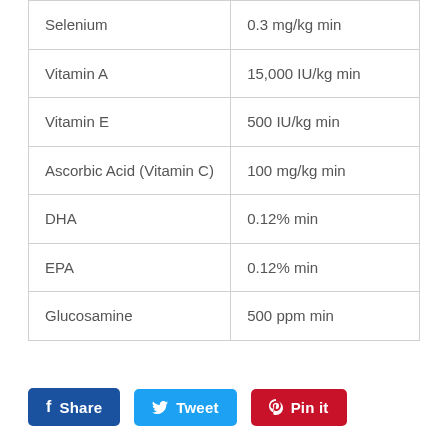| Selenium | 0.3 mg/kg min |
| Vitamin A | 15,000 IU/kg min |
| Vitamin E | 500 IU/kg min |
| Ascorbic Acid (Vitamin C) | 100 mg/kg min |
| DHA | 0.12% min |
| EPA | 0.12% min |
| Glucosamine | 500 ppm min |
Share  Tweet  Pin it